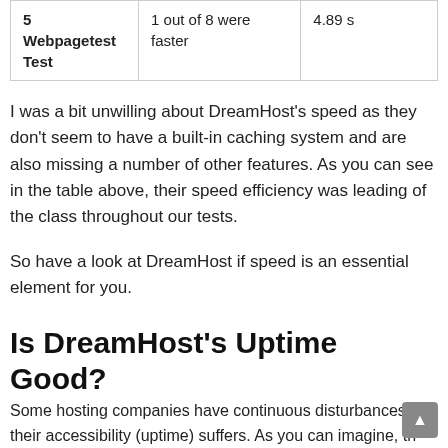|  |  |  |
| --- | --- | --- |
| 5 Webpagetest Test | 1 out of 8 were faster | 4.89 s |
I was a bit unwilling about DreamHost's speed as they don't seem to have a built-in caching system and are also missing a number of other features. As you can see in the table above, their speed efficiency was leading of the class throughout our tests.
So have a look at DreamHost if speed is an essential element for you.
Is DreamHost's Uptime Good?
Some hosting companies have continuous disturbances and their accessibility (uptime) suffers. As you can imagine, th